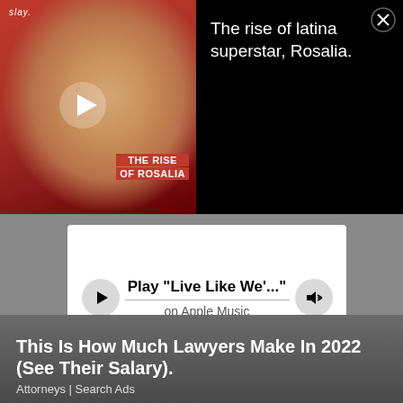[Figure (screenshot): Video thumbnail of Rosalia with red/pink headscarf and red lipstick, with 'slay.' text top-left, a white play button overlay, and 'THE RISE OF ROSALIA' text overlay in red box bottom-right]
The rise of latina superstar, Rosalia.
[Figure (screenshot): Apple Music player widget showing a play button circle on left, 'Play "Live Like We'..."' title text with progress bar line, 'on Apple Music' subtitle, and volume/speaker icon circle on right]
Play "Live Like We'..."
on Apple Music
This Is How Much Lawyers Make In 2022 (See Their Salary).
Attorneys | Search Ads